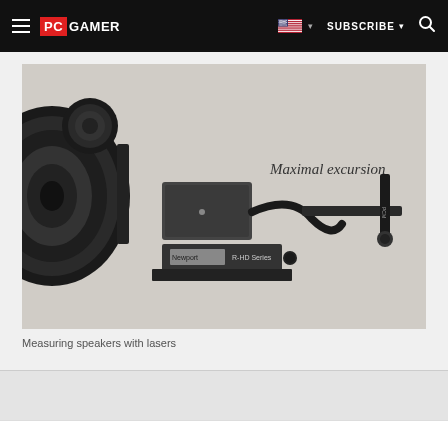PC GAMER | SUBSCRIBE | Search
[Figure (photo): Black and white photo of a speaker being measured with laser equipment. A laser displacement sensor on a mechanical arm points at a speaker cone. Text on the image reads 'Maximal excursion'. Equipment labeled 'Newport R-HD Series' is visible.]
Measuring speakers with lasers